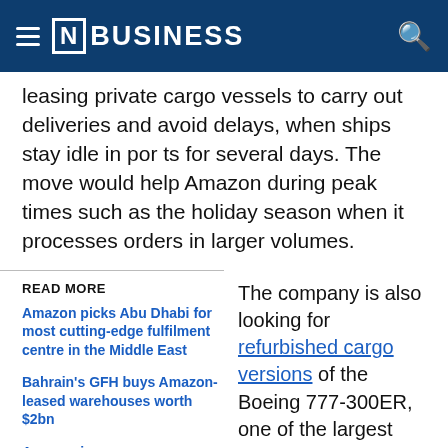[N] BUSINESS
leasing private cargo vessels to carry out deliveries and avoid delays, when ships stay idle in ports for several days. The move would help Amazon during peak times such as the holiday season when it processes orders in larger volumes.
READ MORE
Amazon picks Abu Dhabi for most cutting-edge fulfilment centre in the Middle East
Bahrain's GFH buys Amazon-leased warehouses worth $2bn
Amazon increases average US
The company is also looking for refurbished cargo versions of the Boeing 777-300ER, one of the largest twin-engine passenger